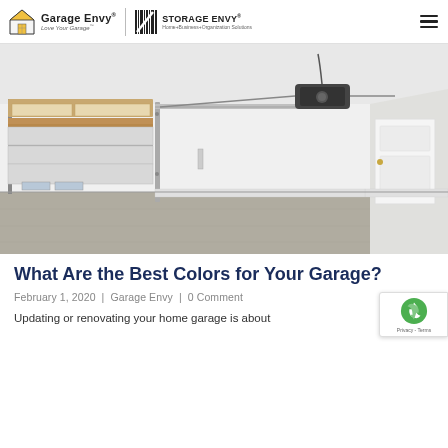Garage Envy® Love Your Garage™ | STORAGE ENVY® Home+Business+Organization Solutions
[Figure (photo): Empty residential two-car garage interior with concrete floor, open sectional garage door on left showing tracks and opener mechanism on ceiling, white walls, and a white interior door on the right.]
What Are the Best Colors for Your Garage?
February 1, 2020 | Garage Envy | 0 Comment
Updating or renovating your home garage is about